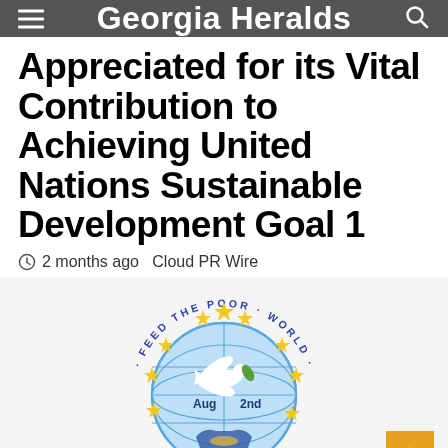Georgia Heralds
Appreciated for its Vital Contribution to Achieving United Nations Sustainable Development Goal 1
2 months ago  Cloud PR Wire
[Figure (logo): Feed The Poor World circular logo with a globe, dove, open hands, yellow stars, and text 'Aug 2nd' inside the globe. The circular text reads 'FEED THE POOR WORLD'.]